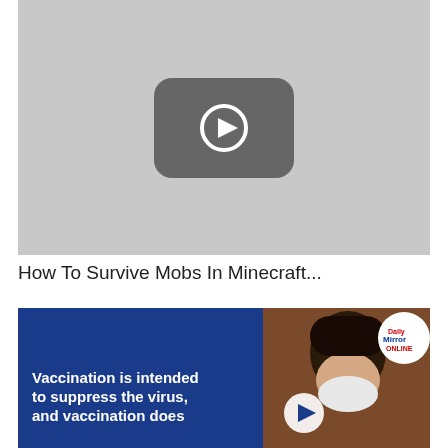[Figure (screenshot): Video thumbnail showing a YouTube-style play button icon on a light gray background]
How To Survive Mobs In Minecraft...
[Figure (screenshot): Video thumbnail with blue background and a woman wearing a mask on the right side. Text reads: Vaccination is intended to suppress the virus, and vaccination does... A play button is overlaid in the center-bottom area. Daily Mirror Online logo badge in top-right corner.]